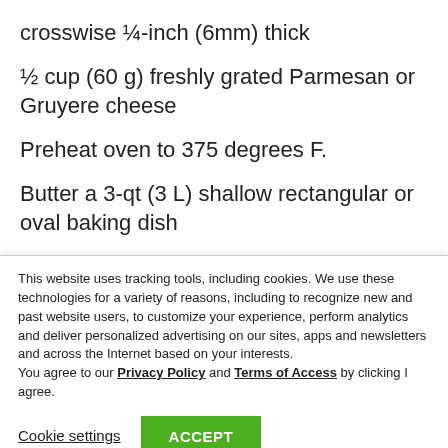crosswise ¼-inch (6mm) thick
½ cup (60 g) freshly grated Parmesan or Gruyere cheese
Preheat oven to 375 degrees F.
Butter a 3-qt (3 L) shallow rectangular or oval baking dish
This website uses tracking tools, including cookies. We use these technologies for a variety of reasons, including to recognize new and past website users, to customize your experience, perform analytics and deliver personalized advertising on our sites, apps and newsletters and across the Internet based on your interests.
You agree to our Privacy Policy and Terms of Access by clicking I agree.
Cookie settings
ACCEPT